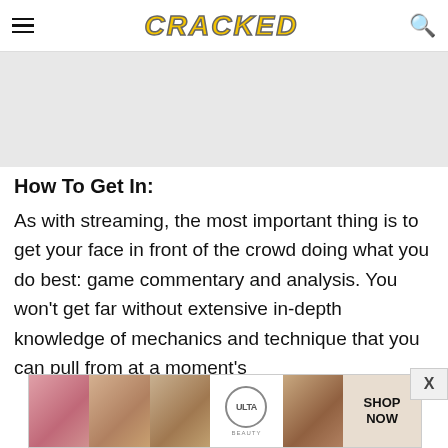CRACKED
[Figure (other): Gray advertisement placeholder rectangle]
How To Get In:
As with streaming, the most important thing is to get your face in front of the crowd doing what you do best: game commentary and analysis. You won't get far without extensive in-depth knowledge of mechanics and technique that you can pull from at a moment's
[Figure (other): ULTA Beauty advertisement banner with makeup images and SHOP NOW text]